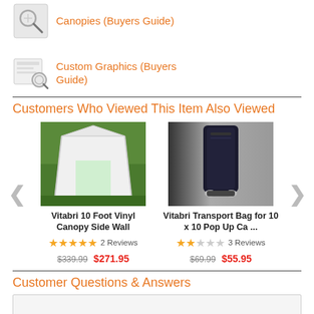Canopies (Buyers Guide)
Custom Graphics (Buyers Guide)
Customers Who Viewed This Item Also Viewed
[Figure (photo): Photo of Vitabri 10 Foot Vinyl Canopy Side Wall - white tent outdoors]
Vitabri 10 Foot Vinyl Canopy Side Wall
★★★★★ 2 Reviews
$339.99 $271.95
[Figure (photo): Photo of Vitabri Transport Bag for 10 x 10 Pop Up Ca... - black bag on silver background]
Vitabri Transport Bag for 10 x 10 Pop Up Ca ...
★★☆☆☆ 3 Reviews
$69.99 $55.95
Customer Questions & Answers